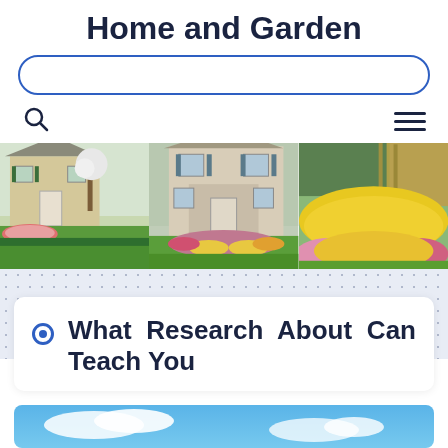Home and Garden
[Figure (screenshot): Search bar with rounded border in blue]
[Figure (screenshot): Navigation row with search icon on left and hamburger menu on right]
[Figure (photo): Three landscape/garden photos side by side: house with garden, two-story house with flower beds, field of yellow and pink flowers]
What Research About Can Teach You
[Figure (photo): Blue sky photo partially visible at bottom of page]